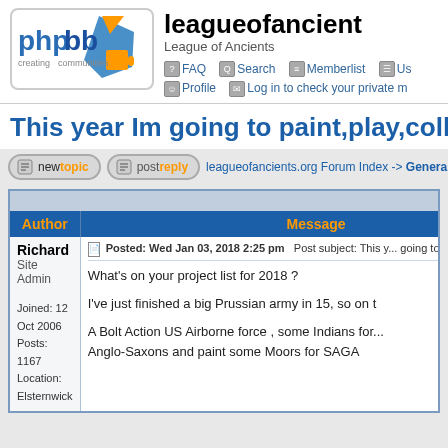[Figure (logo): phpBB logo - creating communities]
leagueofancient
League of Ancients
FAQ  Search  Memberlist  Us...
Profile  Log in to check your private m...
This year Im going to paint,play,collect....
newtopic  postreply  leagueofancients.org Forum Index -> General
| Author | Message |
| --- | --- |
| View previous top |
| Richard
Site Admin

Joined: 12 Oct 2006
Posts: 1167
Location: Elsternwick | Posted: Wed Jan 03, 2018 2:25 pm   Post subject: This y... going to paint,play,collect.....?

What's on your project list for 2018 ?

I've just finished a big Prussian army in 15, so on t...

A Bolt Action US Airborne force , some Indians for...
Anglo-Saxons and paint some Moors for SAGA |